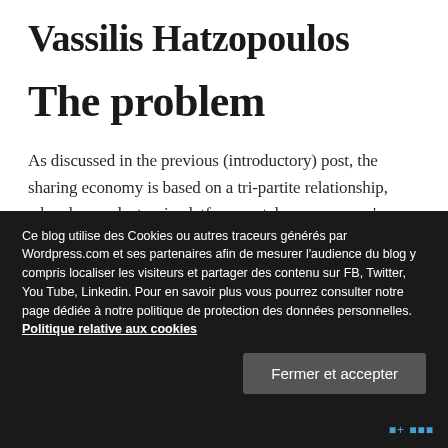Vassilis Hatzopoulos
The problem
As discussed in the previous (introductory) post, the sharing economy is based on a tri-partite relationship, whereby an electronic platform matches consumers' demand for specific services (or goods) with the offer of its
Ce blog utilise des Cookies ou autres traceurs générés par Wordpress.com et ses partenaires afin de mesurer l'audience du blog y compris localiser les visiteurs et partager des contenu sur FB, Twitter, You Tube, Linkedin. Pour en savoir plus vous pourrez consulter notre page dédiée à notre politique de protection des données personnelles. Politique relative aux cookies
Fermer et accepter